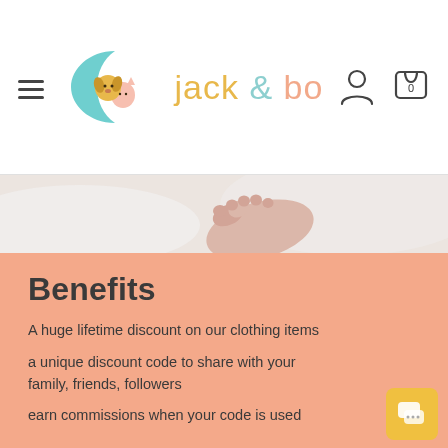jack & bo — navigation header with hamburger menu, logo, user icon, and cart (0)
[Figure (photo): Close-up photo of baby feet on white bedding]
Benefits
A huge lifetime discount on our clothing items
a unique discount code to share with your family, friends, followers
earn commissions when your code is used